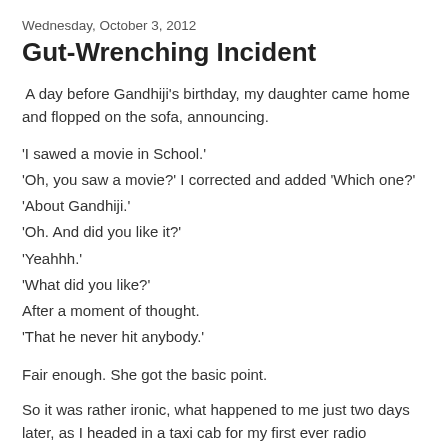Wednesday, October 3, 2012
Gut-Wrenching Incident
A day before Gandhiji's birthday, my daughter came home and flopped on the sofa, announcing.
'I sawed a movie in School.'
'Oh, you saw a movie?' I corrected and added 'Which one?'
'About Gandhiji.'
'Oh. And did you like it?'
'Yeahhh.'
'What did you like?'
After a moment of thought.
'That he never hit anybody.'
Fair enough. She got the basic point.
So it was rather ironic, what happened to me just two days later, as I headed in a taxi cab for my first ever radio interview - a live one at that - at the RadioOne studio in Noida.